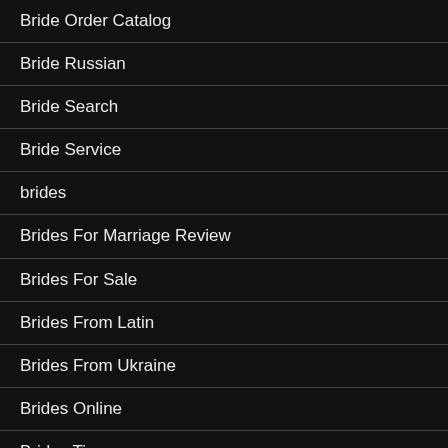Bride Order Catalog
Bride Russian
Bride Search
Bride Service
brides
Brides For Marriage Review
Brides For Sale
Brides From Latin
Brides From Ukraine
Brides Online
Brides Tips
bristlr app
bristlr reviews